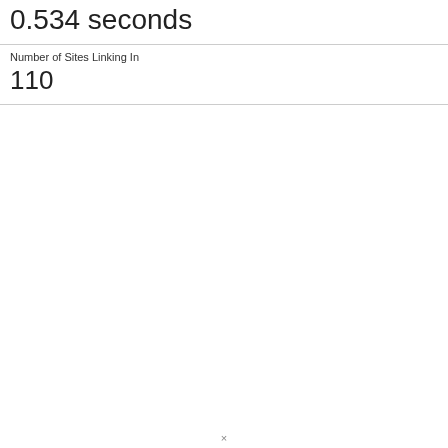0.534 seconds
Number of Sites Linking In
110